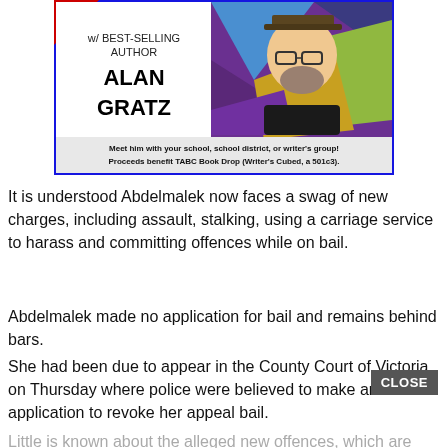[Figure (illustration): Advertisement for an event with best-selling author Alan Gratz. Blue-bordered box with red triangle in top-left corner. Left side shows text 'w/ BEST-SELLING AUTHOR ALAN GRATZ'. Right side shows a photo of a bearded man wearing glasses and a hat against a colorful geometric background. Bottom caption reads 'Meet him with your school, school district, or writer's group! Proceeds benefit TABC Book Drop (Writer's Cubed, a 501c3).']
It is understood Abdelmalek now faces a swag of new charges, including assault, stalking, using a carriage service to harass and committing offences while on bail.
Abdelmalek made no application for bail and remains behind bars.
She had been due to appear in the County Court of Victoria on Thursday where police were believed to make an application to revoke her appeal bail.
Little is known about the alleged new offences, which are